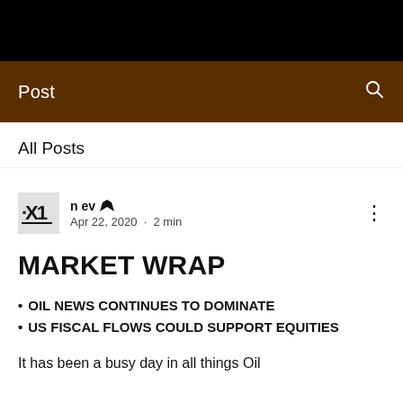Post
All Posts
n ev  Apr 22, 2020 · 2 min
MARKET WRAP
OIL NEWS CONTINUES TO DOMINATE
US FISCAL FLOWS COULD SUPPORT EQUITIES
It has been a busy day in all things Oil